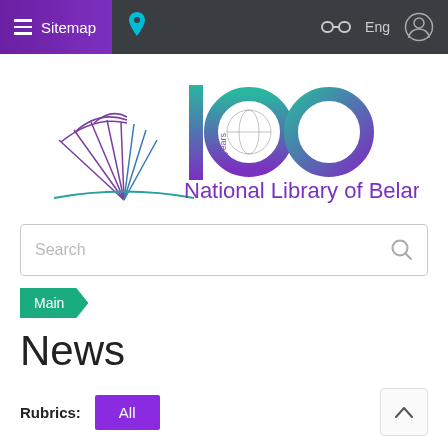Sitemap | Eng
[Figure (logo): 100 Years National Library of Belarus logo with open book illustration and teal/purple gradient numerals]
Search
Main
News
Rubrics: All
National Library of Belarus News